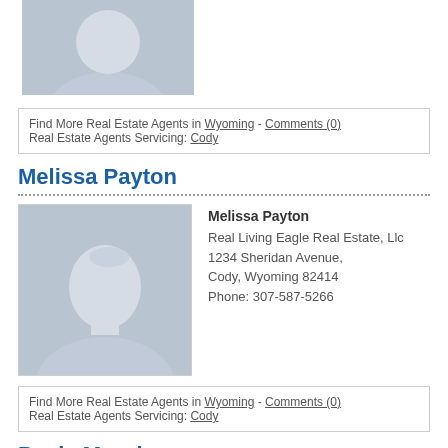[Figure (photo): Partial placeholder silhouette photo of a real estate agent (cropped at top of page)]
Find More Real Estate Agents in Wyoming - Comments (0)
Real Estate Agents Servicing: Cody
Melissa Payton
[Figure (photo): Placeholder silhouette headshot photo for Melissa Payton]
Melissa Payton
Real Living Eagle Real Estate, Llc
1234 Sheridan Avenue,
Cody, Wyoming 82414
Phone: 307-587-5266
Find More Real Estate Agents in Wyoming - Comments (0)
Real Estate Agents Servicing: Cody
Paula Murphy
[Figure (photo): Partial placeholder silhouette headshot photo for Paula Murphy (cropped at bottom of page)]
Paula Murphy
Real Living Hake Realty